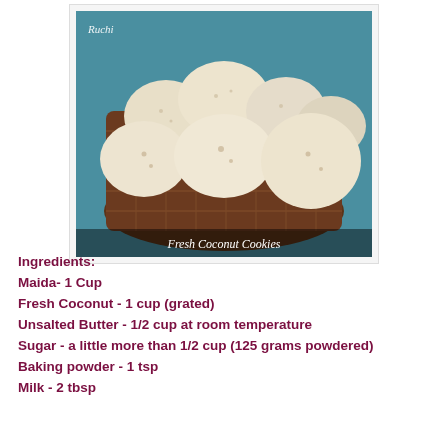[Figure (photo): A basket filled with fresh coconut cookies, round and pale colored, with text 'Ruchi' in top left and 'Fresh Coconut Cookies' at the bottom of the photo.]
Ingredients:
Maida- 1 Cup
Fresh Coconut - 1 cup (grated)
Unsalted Butter - 1/2 cup at room temperature
Sugar - a little more than 1/2 cup (125 grams powdered)
Baking powder - 1 tsp
Milk - 2 tbsp